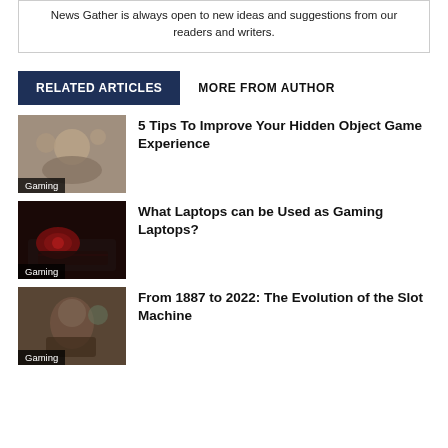News Gather is always open to new ideas and suggestions from our readers and writers.
RELATED ARTICLES
MORE FROM AUTHOR
[Figure (photo): Gaming thumbnail with fantasy characters, labeled Gaming]
5 Tips To Improve Your Hidden Object Game Experience
[Figure (photo): Red gaming controller on laptop keyboard, labeled Gaming]
What Laptops can be Used as Gaming Laptops?
[Figure (photo): Person playing slot/gaming machine, labeled Gaming]
From 1887 to 2022: The Evolution of the Slot Machine